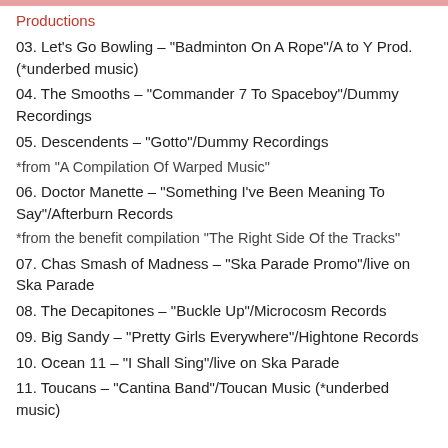Productions
03. Let's Go Bowling – "Badminton On A Rope"/A to Y Prod. (*underbed music)
04. The Smooths – "Commander 7 To Spaceboy"/Dummy Recordings
05. Descendents – "Gotto"/Dummy Recordings
*from "A Compilation Of Warped Music"
06. Doctor Manette – "Something I've Been Meaning To Say"/Afterburn Records
*from the benefit compilation "The Right Side Of the Tracks"
07. Chas Smash of Madness – "Ska Parade Promo"/live on Ska Parade
08. The Decapitones – "Buckle Up"/Microcosm Records
09. Big Sandy – "Pretty Girls Everywhere"/Hightone Records
10. Ocean 11 – "I Shall Sing"/live on Ska Parade
11. Toucans – "Cantina Band"/Toucan Music (*underbed music)